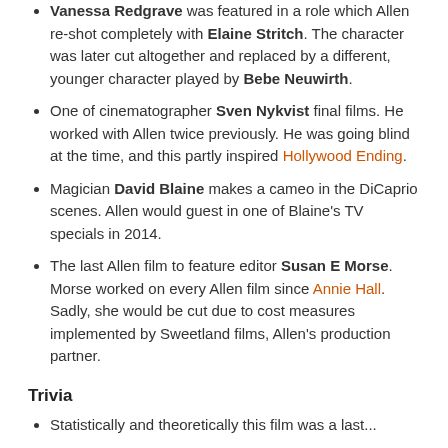Vanessa Redgrave was featured in a role which Allen re-shot completely with Elaine Stritch. The character was later cut altogether and replaced by a different, younger character played by Bebe Neuwirth.
One of cinematographer Sven Nykvist final films. He worked with Allen twice previously. He was going blind at the time, and this partly inspired Hollywood Ending.
Magician David Blaine makes a cameo in the DiCaprio scenes. Allen would guest in one of Blaine's TV specials in 2014.
The last Allen film to feature editor Susan E Morse. Morse worked on every Allen film since Annie Hall. Sadly, she would be cut due to cost measures implemented by Sweetland films, Allen's production partner.
Trivia
Statistically and theoretically this film was a last...